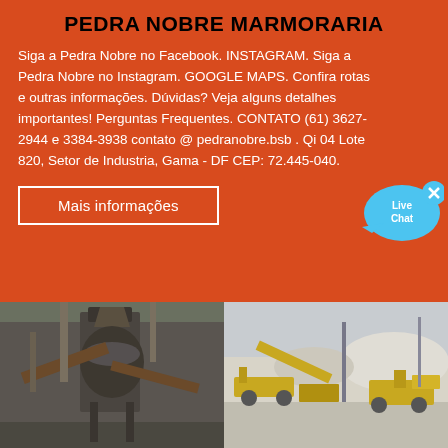PEDRA NOBRE MARMORARIA
Siga a Pedra Nobre no Facebook. INSTAGRAM. Siga a Pedra Nobre no Instagram. GOOGLE MAPS. Confira rotas e outras informações. Dúvidas? Veja alguns detalhes importantes! Perguntas Frequentes. CONTATO (61) 3627-2944 e 3384-3938 contato @ pedranobre.bsb . Qi 04 Lote 820, Setor de Industria, Gama - DF CEP: 72.445-040.
[Figure (other): Live Chat button/widget — a blue speech bubble with 'Live Chat' text and an X close button]
Mais informações
[Figure (photo): Left photo: industrial stone crushing/processing plant machinery, dark metal structures and conveyor belts]
[Figure (photo): Right photo: outdoor quarry or stone processing site with yellow heavy machinery and white stone piles]